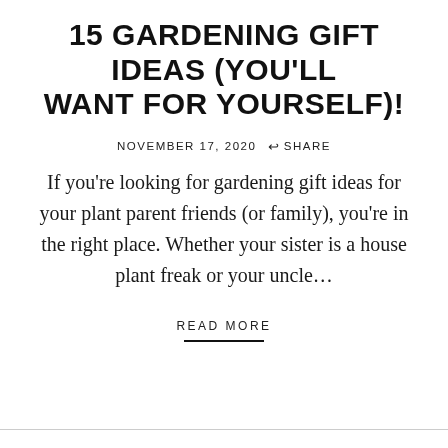15 GARDENING GIFT IDEAS (YOU'LL WANT FOR YOURSELF)!
NOVEMBER 17, 2020  ↗ SHARE
If you're looking for gardening gift ideas for your plant parent friends (or family), you're in the right place. Whether your sister is a house plant freak or your uncle…
READ MORE